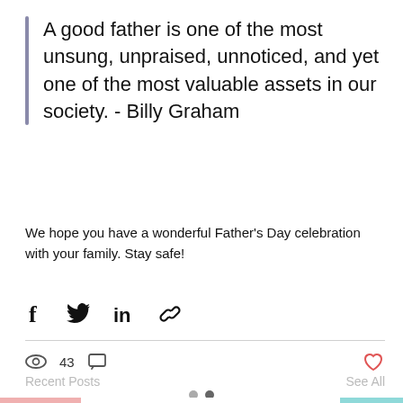A good father is one of the most unsung, unpraised, unnoticed, and yet one of the most valuable assets in our society. - Billy Graham
We hope you have a wonderful Father's Day celebration with your family. Stay safe!
[Figure (infographic): Social share icons: Facebook (f), Twitter (bird), LinkedIn (in), Link/chain icon]
43
Recent Posts
See All